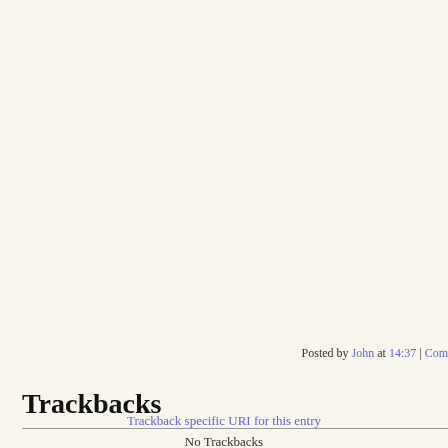Posted by John at 14:37 | Com
Trackbacks
Trackback specific URI for this entry
No Trackbacks